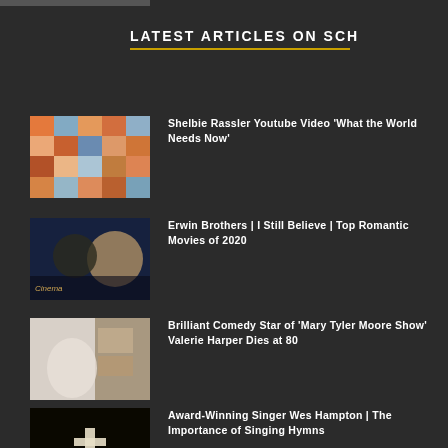LATEST ARTICLES ON SCH
Shelbie Rassler Youtube Video ‘What the World Needs Now’
Erwin Brothers | I Still Believe | Top Romantic Movies of 2020
Brilliant Comedy Star of ‘Mary Tyler Moore Show’ Valerie Harper Dies at 80
Award-Winning Singer Wes Hampton | The Importance of Singing Hymns